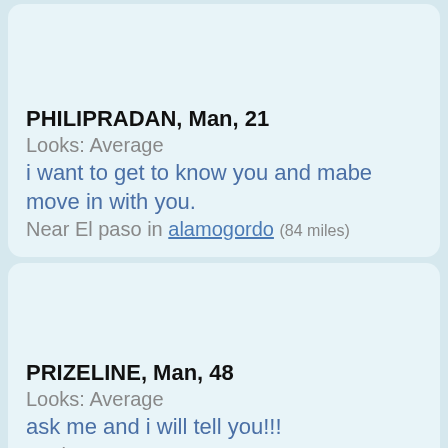PHILIPRADAN, Man, 21
Looks: Average
i want to get to know you and mabe move in with you.
Near El paso in alamogordo (84 miles)
PRIZELINE, Man, 48
Looks: Average
ask me and i will tell you!!!
In El paso